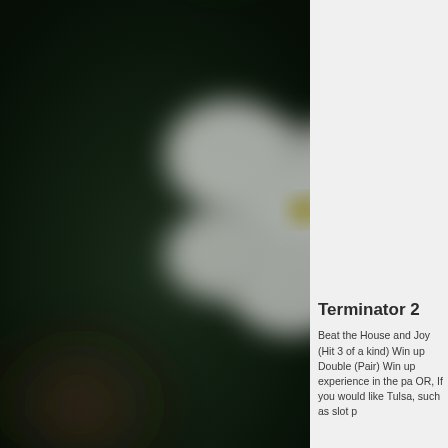[Figure (photo): Blurred close-up photo of a white flower against a dark background with some brown and green tones. The flower has small white petals with a yellow center.]
Terminator 2
Beat the House and Joy (Hit 3 of a kind) Win up Double (Pair) Win up experience in the pa OR, If you would like Tulsa, such as slot p